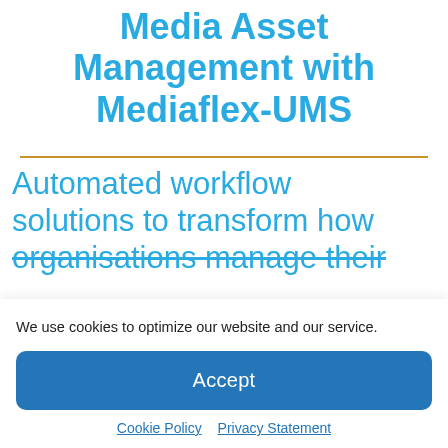Media Asset Management with Mediaflex-UMS
Automated workflow solutions to transform how organisations manage their
We use cookies to optimize our website and our service.
Accept
Cookie Policy   Privacy Statement